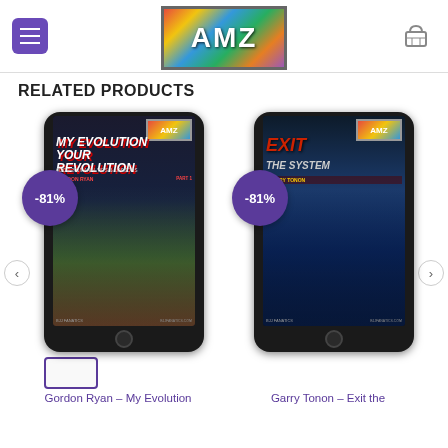[Figure (screenshot): Website header with hamburger menu, AMZ logo, and cart icon]
RELATED PRODUCTS
[Figure (photo): Product card: Gordon Ryan – My Evolution Your Revolution, showing tablet with BJJ instructional cover, -81% discount badge]
[Figure (photo): Product card: Garry Tonon – Exit the System, showing tablet with BJJ instructional cover, -81% discount badge]
Gordon Ryan – My Evolution
Garry Tonon – Exit the